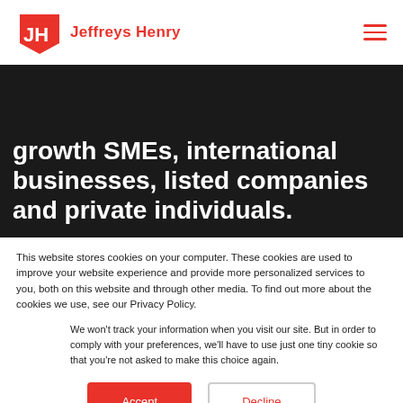Jeffreys Henry
growth SMEs, international businesses, listed companies and private individuals.
This website stores cookies on your computer. These cookies are used to improve your website experience and provide more personalized services to you, both on this website and through other media. To find out more about the cookies we use, see our Privacy Policy.
We won't track your information when you visit our site. But in order to comply with your preferences, we'll have to use just one tiny cookie so that you're not asked to make this choice again.